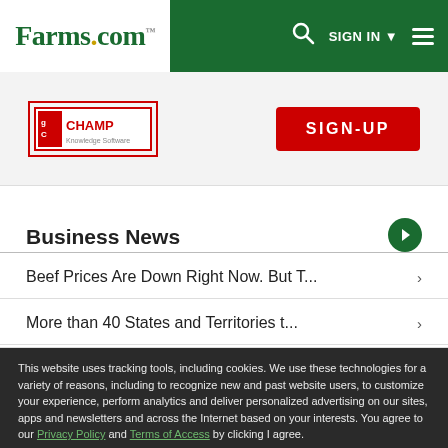Farms.com
[Figure (logo): gCHAMP Knowledge Software logo with SIGN-UP button]
Business News
Beef Prices Are Down Right Now. But T... ›
More than 40 States and Territories t... ›
This website uses tracking tools, including cookies. We use these technologies for a variety of reasons, including to recognize new and past website users, to customize your experience, perform analytics and deliver personalized advertising on our sites, apps and newsletters and across the Internet based on your interests. You agree to our Privacy Policy and Terms of Access by clicking I agree.